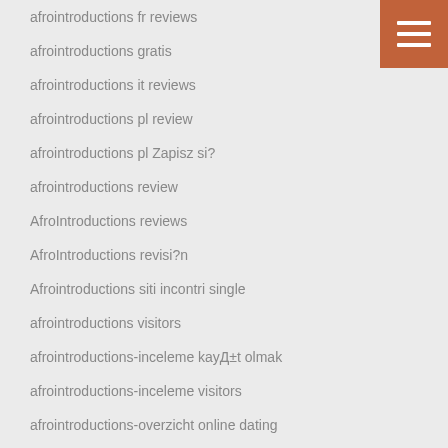afrointroductions fr reviews
afrointroductions gratis
afrointroductions it reviews
afrointroductions pl review
afrointroductions pl Zapisz si?
afrointroductions review
AfroIntroductions reviews
AfroIntroductions revisi?n
Afrointroductions siti incontri single
afrointroductions visitors
afrointroductions-inceleme kayД±t olmak
afrointroductions-inceleme visitors
afrointroductions-overzicht online dating